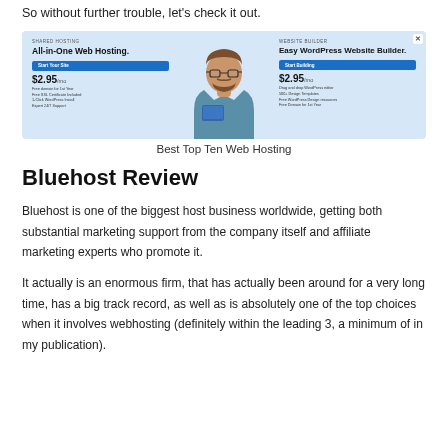So without further trouble, let's check it out.
[Figure (screenshot): Bluehost website screenshot showing two panels: 'All-in-One Web Hosting' on the left with $2.95/mo pricing, a person with glasses and beard in the center, and 'Easy WordPress Website Builder' on the right also at $2.95/mo, with a close button in the top right corner.]
Best Top Ten Web Hosting
Bluehost Review
Bluehost is one of the biggest host business worldwide, getting both substantial marketing support from the company itself and affiliate marketing experts who promote it.
It actually is an enormous firm, that has actually been around for a very long time, has a big track record, as well as is absolutely one of the top choices when it involves webhosting (definitely within the leading 3, a minimum of in my publication).